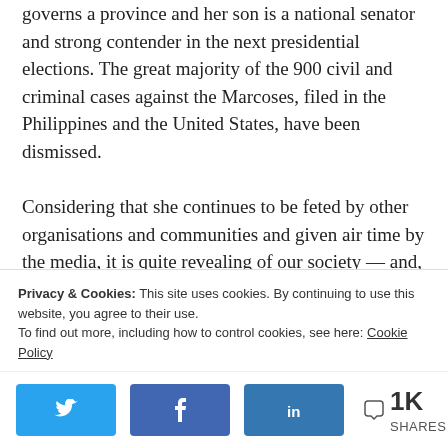governs a province and her son is a national senator and strong contender in the next presidential elections. The great majority of the 900 civil and criminal cases against the Marcoses, filed in the Philippines and the United States, have been dismissed.
Considering that she continues to be feted by other organisations and communities and given air time by the media, it is quite revealing of our society — and, now, the
Privacy & Cookies: This site uses cookies. By continuing to use this website, you agree to their use. To find out more, including how to control cookies, see here: Cookie Policy